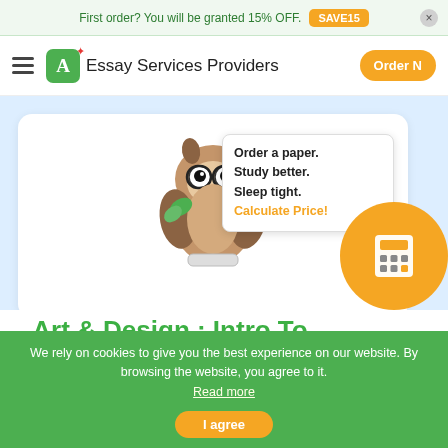First order? You will be granted 15% OFF. SAVE15
A+ Essay Services Providers  Order N
[Figure (illustration): Cartoon owl holding a gold star, wearing glasses, standing on a scroll — essay writing service mascot]
Order a paper. Study better. Sleep tight. Calculate Price!
Art & Design : Intro To Fi... Studies 9...
We rely on cookies to give you the best experience on our website. By browsing the website, you agree to it. Read more
I agree